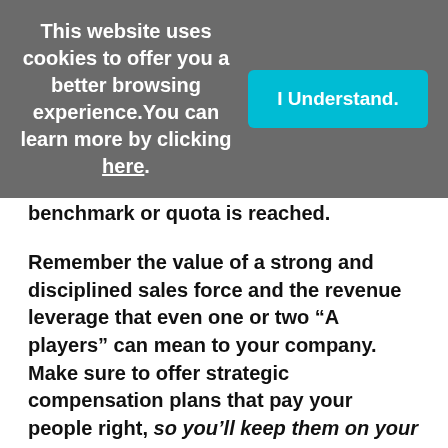This website uses cookies to offer you a better browsing experience. You can learn more by clicking here.
guaranteed minimum income until a benchmark or quota is reached.
Remember the value of a strong and disciplined sales force and the revenue leverage that even one or two “A players” can mean to your company. Make sure to offer strategic compensation plans that pay your people right, so you’ll keep them on your team!
Learn more about engaging top sales talent in this blog post.